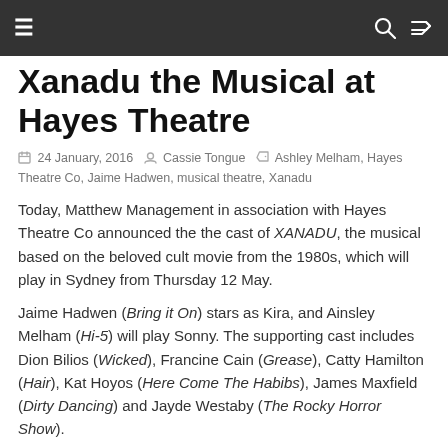≡  🔍  ⇌
Xanadu the Musical at Hayes Theatre
24 January, 2016  Cassie Tongue  Ashley Melham, Hayes Theatre Co, Jaime Hadwen, musical theatre, Xanadu
Today, Matthew Management in association with Hayes Theatre Co announced the the cast of XANADU, the musical based on the beloved cult movie from the 1980s, which will play in Sydney from Thursday 12 May.
Jaime Hadwen (Bring it On) stars as Kira, and Ainsley Melham (Hi-5) will play Sonny. The supporting cast includes Dion Bilios (Wicked), Francine Cain (Grease), Catty Hamilton (Hair), Kat Hoyos (Here Come The Habibs), James Maxfield (Dirty Dancing) and Jayde Westaby (The Rocky Horror Show).